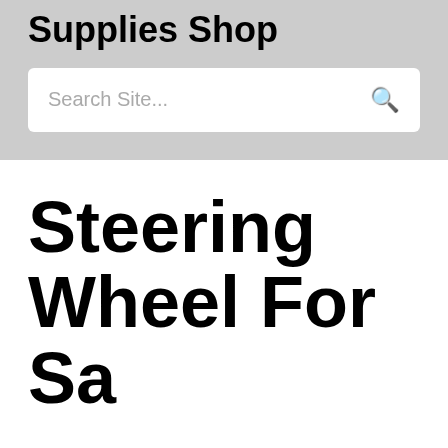Vintage Car Parts Supplies Shop
Search Site...
Steering Wheel For Sa…